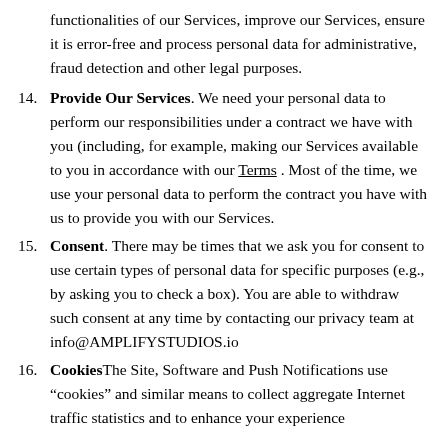functionalities of our Services, improve our Services, ensure it is error-free and process personal data for administrative, fraud detection and other legal purposes.
14. Provide Our Services. We need your personal data to perform our responsibilities under a contract we have with you (including, for example, making our Services available to you in accordance with our Terms . Most of the time, we use your personal data to perform the contract you have with us to provide you with our Services.
15. Consent. There may be times that we ask you for consent to use certain types of personal data for specific purposes (e.g., by asking you to check a box). You are able to withdraw such consent at any time by contacting our privacy team at info@AMPLIFYSTUDIOS.io
16. Cookies The Site, Software and Push Notifications use “cookies” and similar means to collect aggregate Internet traffic statistics and to enhance your experience